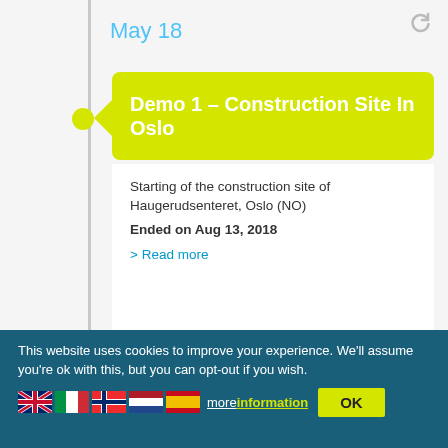May 18
Demo 1 – Construction Site In Oslo
Starting of the construction site of Haugerudsenteret, Oslo (NO)
Ended on Aug 13, 2018
> Read more
October 18
Protocol For Deep Renovation
This website uses cookies to improve your experience. We'll assume you're ok with this, but you can opt-out if you wish.
more information  OK